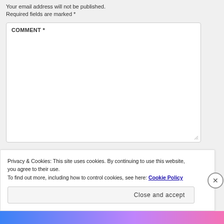Your email address will not be published. Required fields are marked *
COMMENT *
Privacy & Cookies: This site uses cookies. By continuing to use this website, you agree to their use.
To find out more, including how to control cookies, see here: Cookie Policy
Close and accept